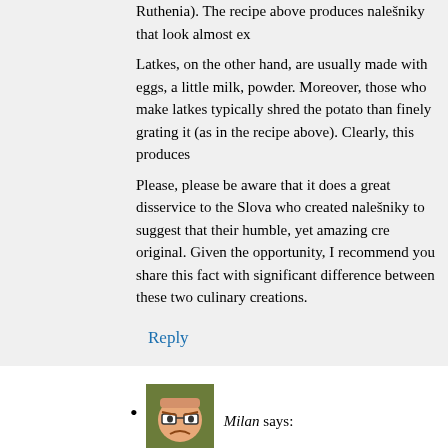Ruthenia). The recipe above produces nalešniky that look almost ex
Latkes, on the other hand, are usually made with eggs, a little milk, powder. Moreover, those who make latkes typically shred the potato than finely grating it (as in the recipe above). Clearly, this produces
Please, please be aware that it does a great disservice to the Slova who created nalešniky to suggest that their humble, yet amazing cre original. Given the opportunity, I recommend you share this fact with significant difference between these two culinary creations.
Reply
[Figure (photo): Small avatar image of a cartoon angry face with glasses on a green/olive background, approximately 68x68 pixels]
Milan says:
December 12, 2020 at 3:29 pm
My family came to USA around 1926. I was born in USA in 1933 like so many that immigrated there. She mad a potato pancake t on her slovak cooing. It kind of bugs me a little when people con When it was potato pancake day in my house growing up I was i dill gravy to put on top of them. Buy I did not care for the dill grav above. That sounds close.
Reply